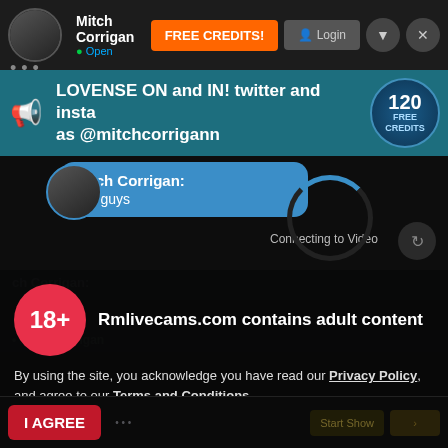Mitch Corrigan | Open | FREE CREDITS! | Login
LOVENSE ON and IN! twitter and insta as @mitchcorrigann
120 FREE CREDITS
Enable Audio
Mitch Corrigan: hey guys
Connecting to Video
Rmlivecams.com contains adult content
By using the site, you acknowledge you have read our Privacy Policy, and agree to our Terms and Conditions.
We use cookies to optimize your experience, analyze traffic, and deliver more personalized service. To learn more, please see our Privacy Policy.
Hi, nice to meet you :)
Very sexy baby
I AGREE
... | Start Show